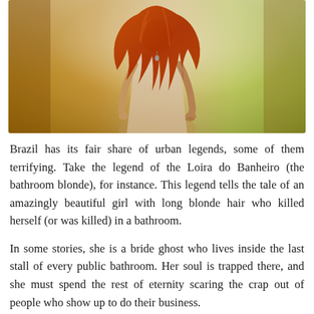[Figure (photo): A stylized photo of a woman with long reddish-orange hair wearing a white dress, standing against a warm yellow-green blurred background. The image has a warm, vivid tone.]
Brazil has its fair share of urban legends, some of them terrifying. Take the legend of the Loira do Banheiro (the bathroom blonde), for instance. This legend tells the tale of an amazingly beautiful girl with long blonde hair who killed herself (or was killed) in a bathroom.
In some stories, she is a bride ghost who lives inside the last stall of every public bathroom. Her soul is trapped there, and she must spend the rest of eternity scaring the crap out of people who show up to do their business.